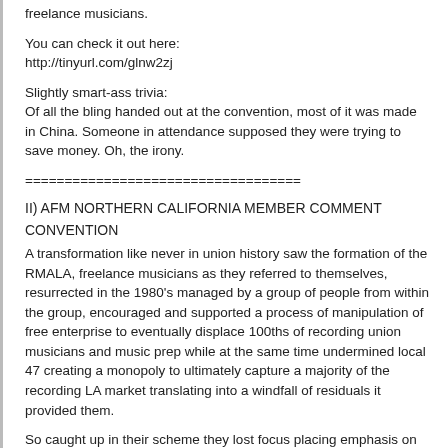freelance musicians.
You can check it out here:
http://tinyurl.com/glnw2zj
Slightly smart-ass trivia:
Of all the bling handed out at the convention, most of it was made in China. Someone in attendance supposed they were trying to save money. Oh, the irony.
===================================
II) AFM NORTHERN CALIFORNIA MEMBER COMMENT
CONVENTION
A transformation like never in union history saw the formation of the RMALA, freelance musicians as they referred to themselves, resurrected in the 1980's managed by a group of people from within the group, encouraged and supported a process of manipulation of free enterprise to eventually displace 100ths of recording union musicians and music prep while at the same time undermined local 47 creating a monopoly to ultimately capture a majority of the recording LA market translating into a windfall of residuals it provided them.
So caught up in their scheme they lost focus placing emphasis on protecting there self-righteous interests including using there leverage to deliberately keep the AFM out of LA so to flourish by allowing no one to get in their way to maintain a corrupt control dictating over union